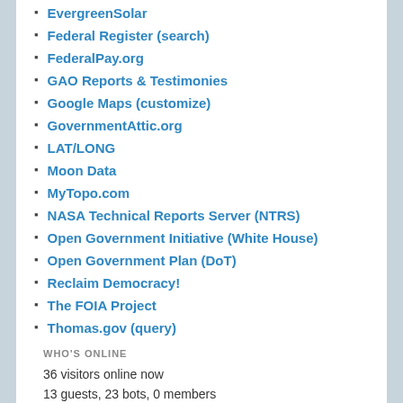EvergreenSolar
Federal Register (search)
FederalPay.org
GAO Reports & Testimonies
Google Maps (customize)
GovernmentAttic.org
LAT/LONG
Moon Data
MyTopo.com
NASA Technical Reports Server (NTRS)
Open Government Initiative (White House)
Open Government Plan (DoT)
Reclaim Democracy!
The FOIA Project
Thomas.gov (query)
WHO'S ONLINE
36 visitors online now
13 guests, 23 bots, 0 members